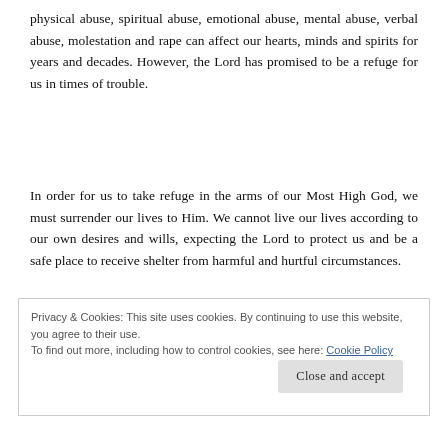physical abuse, spiritual abuse, emotional abuse, mental abuse, verbal abuse, molestation and rape can affect our hearts, minds and spirits for years and decades. However, the Lord has promised to be a refuge for us in times of trouble.
In order for us to take refuge in the arms of our Most High God, we must surrender our lives to Him. We cannot live our lives according to our own desires and wills, expecting the Lord to protect us and be a safe place to receive shelter from harmful and hurtful circumstances.
Privacy & Cookies: This site uses cookies. By continuing to use this website, you agree to their use. To find out more, including how to control cookies, see here: Cookie Policy
Close and accept